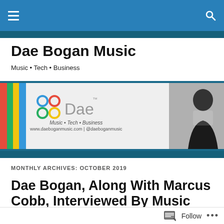Navigation bar with hamburger menu and search icon
Dae Bogan Music
Music • Tech • Business
[Figure (illustration): Dae Bogan Music banner with colored vertical stripes (red, green, yellow, blue), Dae logo with colorful icon, tagline Music • Tech • Business, website www.daeboganmusic.com | @daeboganmusic, and a smiling man in a suit on the right]
MONTHLY ARCHIVES: OCTOBER 2019
Dae Bogan, Along With Marcus Cobb, Interviewed By Music Business Associates